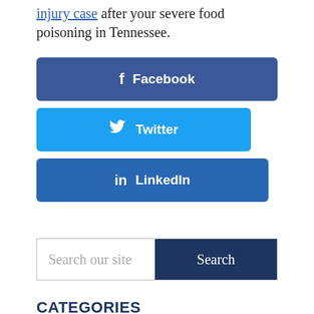injury case after your severe food poisoning in Tennessee.
[Figure (other): Social share buttons: Facebook, Twitter, LinkedIn]
[Figure (other): Search bar with placeholder 'Search our site' and Search button]
CATEGORIES
Car Accidents (87)
Firm News (1)